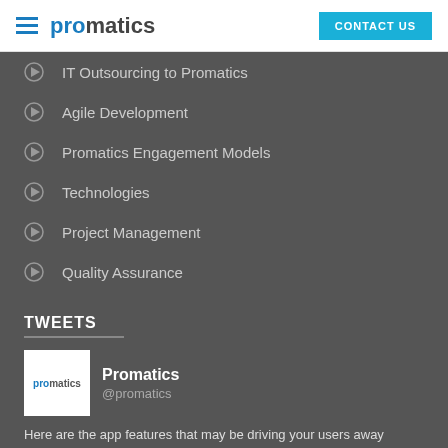promatics | CONTACT US
IT Outsourcing to Promatics
Agile Development
Promatics Engagement Models
Technologies
Project Management
Quality Assurance
TWEETS
Promatics @promatics
Here are the app features that may be driving your users away https://t.co/5OnE15dftx #appfeatures... https://t.co/HyDkabuCzA Show Summary